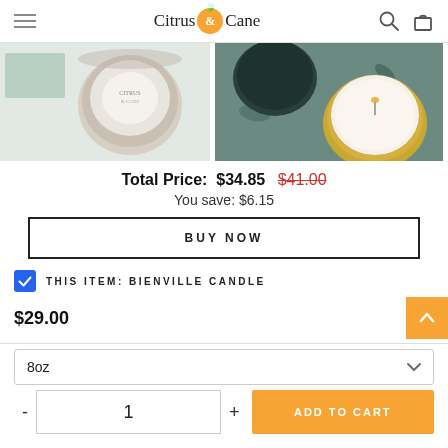Citrus & Cane
[Figure (photo): Two product photos side by side: left shows a small glass candle jar from above on a light green/grey surface; right shows a round white candle on a dark teal surface with leaf shadows]
Total Price: $34.85 $41.00
You save: $6.15
BUY NOW
THIS ITEM: BIENVILLE CANDLE
$29.00
8oz
1
ADD TO CART